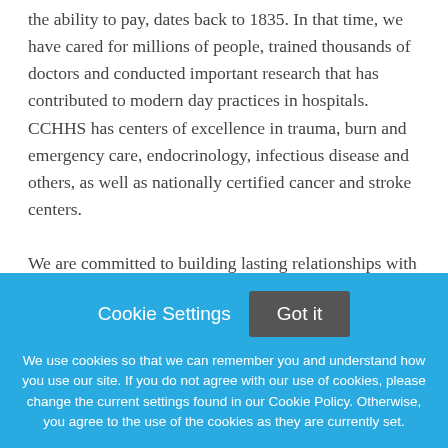the ability to pay, dates back to 1835. In that time, we have cared for millions of people, trained thousands of doctors and conducted important research that has contributed to modern day practices in hospitals. CCHHS has centers of excellence in trauma, burn and emergency care, endocrinology, infectious disease and others, as well as nationally certified cancer and stroke centers.
We are committed to building lasting relationships with our patients, their families and communities to promote good health at every stage of life. CCHHS cares for the
Cookie Settings   Got it

We use cookies so that we can remember you and understand how you use our site. If you do not agree with our use of cookies, please change the current settings found in our Cookie Policy. Otherwise, you agree to the use of the cookies as they are currently set.